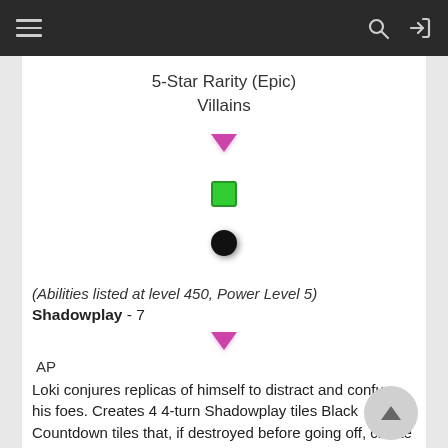5-Star Rarity (Epic) Villains
[Figure (illustration): Purple downward-pointing diamond/triangle emoji, green square emoji, and black circle emoji stacked vertically centered on page]
(Abilities listed at level 450, Power Level 5)
Shadowplay - 7
[Figure (illustration): Purple downward-pointing diamond/triangle emoji centered]
AP
Loki conjures replicas of himself to distract and confuse his foes. Creates 4 4-turn Shadowplay tiles Black Countdown tiles that, if destroyed before going off, create 2 new Shadowplay tiles. After firing this